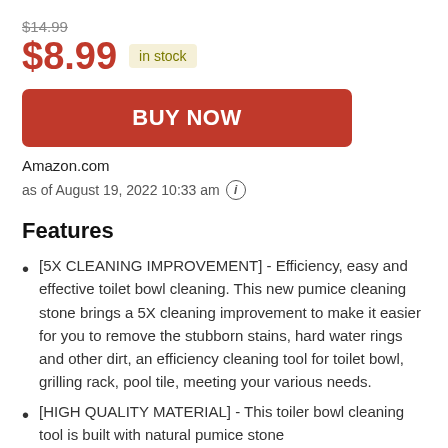$14.99
$8.99  in stock
[Figure (other): BUY NOW button (red rectangle with white bold text)]
Amazon.com
as of August 19, 2022 10:33 am (i)
Features
[5X CLEANING IMPROVEMENT] - Efficiency, easy and effective toilet bowl cleaning. This new pumice cleaning stone brings a 5X cleaning improvement to make it easier for you to remove the stubborn stains, hard water rings and other dirt, an efficiency cleaning tool for toilet bowl, grilling rack, pool tile, meeting your various needs.
[HIGH QUALITY MATERIAL] - This toiler bowl cleaning tool is built with natural pumice stone